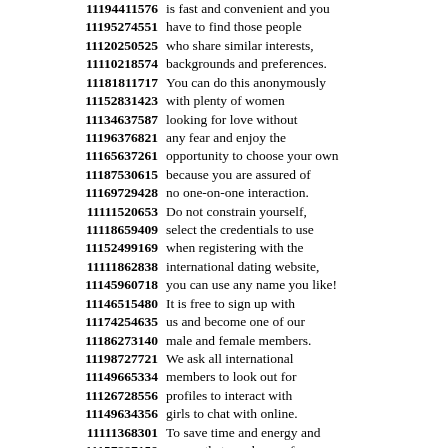11194411576 is fast and convenient and you
11195274551 have to find those people
11120250525 who share similar interests,
11110218574 backgrounds and preferences.
11181811717 You can do this anonymously
11152831423 with plenty of women
11134637587 looking for love without
11196376821 any fear and enjoy the
11165637261 opportunity to choose your own
11187530615 because you are assured of
11169729428 no one-on-one interaction.
11111520653 Do not constrain yourself,
11118659409 select the credentials to use
11152499169 when registering with the
11111862838 international dating website,
11145960718 you can use any name you like!
11146515480 It is free to sign up with
11174254635 us and become one of our
11186273140 male and female members.
11198727721 We ask all international
11149665334 members to look out for
11126728556 profiles to interact with
11149634356 girls to chat with online.
11111368301 To save time and energy and
11157887159 ensure that you have a fun,
11152954239 you have to know the right